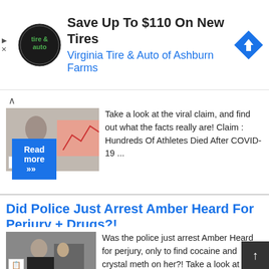[Figure (other): Advertisement banner for Virginia Tire & Auto of Ashburn Farms with logo and blue arrow icon]
Take a look at the viral claim, and find out what the facts really are! Claim : Hundreds Of Athletes Died After COVID-19 ...
Read more »
Did Police Just Arrest Amber Heard For Perjury + Drugs?!
Posted by Dr. Adrian Wong
Was the police just arrest Amber Heard for perjury, only to find cocaine and crystal meth on her?! Take a look at the viral claim, and find out what the facts really are!